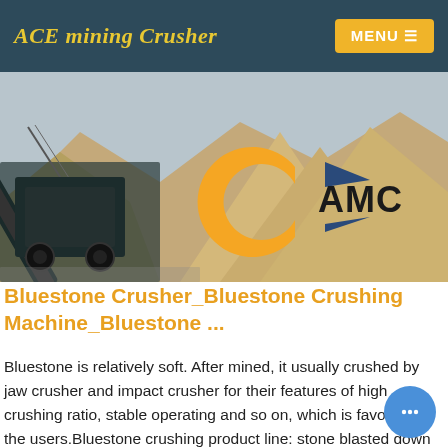ACE mining Crusher
[Figure (photo): Mining crusher equipment with conveyor belt and large sand/gravel piles in an open area, with AMC logo overlaid on the right side]
Bluestone Crusher_Bluestone Crushing Machine_Bluestone ...
Bluestone is relatively soft. After mined, it usually crushed by jaw crusher and impact crusher for their features of high crushing ratio, stable operating and so on, which is favored by the users.Bluestone crushing product line: stone blasted down from mountains, and that less 1020mm will be conveyed into vibrating feeder by truck, then be conveyed into jaw crusher gradually...